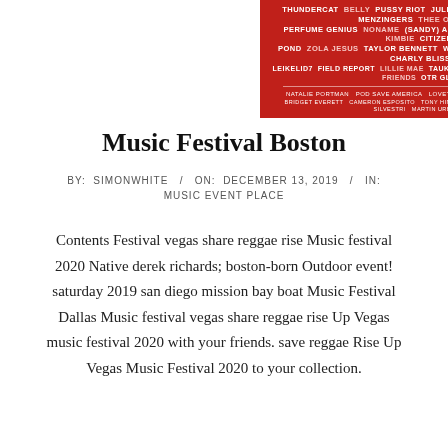[Figure (illustration): Red music festival poster showing artist lineup including Thundercat, Belly, Pussy Riot, Julien Baker, Alvvays, The Menzingers, Thee Oh Sees, Perfume Genius, Noname, (Sandy) Alex G, Big Thief, Mount Kimbie, Citizen Pond, Zola Jesus, Taylor Bennett, Westside Gunn & Conway, Charly Bliss, Leikelid7, Field Report, Lillie Mae, Tauk, This Is The Kit, Weakened Friends, OTR GLD and others; also featuring Natalie Portman, Pod Save America, Lovett or Leave It, David Cross, Bridget Everett, Cameron Esposito, Tony Hinchcliffe, Jo Firestone, Max Silvestri, Martin Urbano]
Music Festival Boston
BY: SIMONWHITE / ON: DECEMBER 13, 2019 / IN: MUSIC EVENT PLACE
Contents Festival vegas share reggae rise Music festival 2020 Native derek richards; boston-born Outdoor event! saturday 2019 san diego mission bay boat Music Festival Dallas Music festival vegas share reggae rise Up Vegas music festival 2020 with your friends. save reggae Rise Up Vegas Music Festival 2020 to your collection.